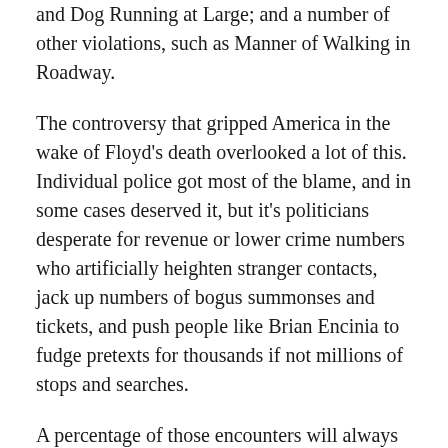and Dog Running at Large; and a number of other violations, such as Manner of Walking in Roadway.
The controversy that gripped America in the wake of Floyd's death overlooked a lot of this. Individual police got most of the blame, and in some cases deserved it, but it's politicians desperate for revenue or lower crime numbers who artificially heighten stranger contacts, jack up numbers of bogus summonses and tickets, and push people like Brian Encinia to fudge pretexts for thousands if not millions of stops and searches.
A percentage of those encounters will always go wrong, and when they do, it's not always all about racism. It's usually also about political stupidity, greed, and laziness, and a host of other problems our habit of reaching for simplistic explanations prevents us from understanding. Saying it's all about race or white supremacy isn't just inaccurate, it lets bad actors off the